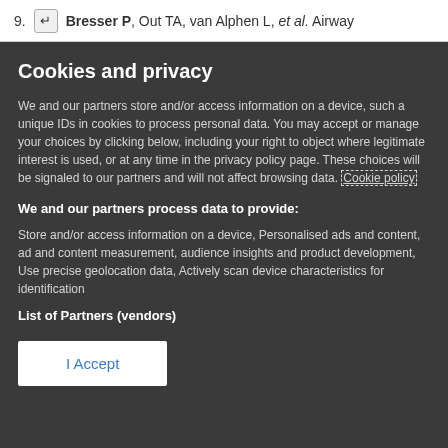9. ↵ Bresser P, Out TA, van Alphen L, et al. Airway
Cookies and privacy
We and our partners store and/or access information on a device, such a unique IDs in cookies to process personal data. You may accept or manage your choices by clicking below, including your right to object where legitimate interest is used, or at any time in the privacy policy page. These choices will be signaled to our partners and will not affect browsing data. Cookie policy
We and our partners process data to provide:
Store and/or access information on a device, Personalised ads and content, ad and content measurement, audience insights and product development, Use precise geolocation data, Actively scan device characteristics for identification
List of Partners (vendors)
I Accept